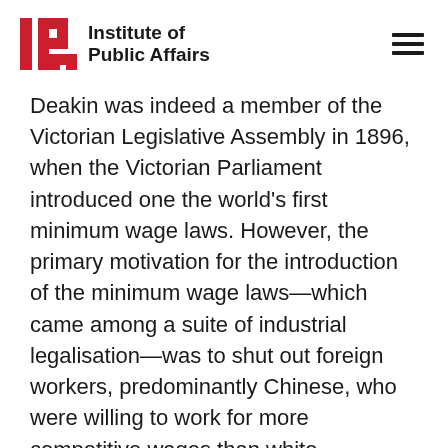Institute of Public Affairs
Deakin was indeed a member of the Victorian Legislative Assembly in 1896, when the Victorian Parliament introduced one the world's first minimum wage laws. However, the primary motivation for the introduction of the minimum wage laws—which came among a suite of industrial legalisation—was to shut out foreign workers, predominantly Chinese, who were willing to work for more competitive wages than white Victorians males were. Deakin, of course, went on to become the chief architect of the White Australia policy. The discriminatory intention was explicit…